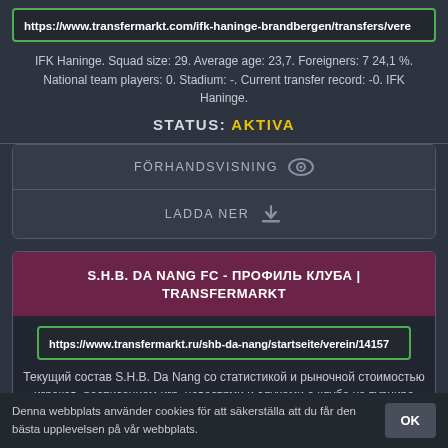https://www.transfermarkt.com/ifk-haninge-brandbergen/transfers/vere
IFK Haninge. Squad size: 29. Average age: 23,7. Foreigners: 7 24,1 %. National team players: 0. Stadium: -. Current transfer record: -0. IFK Haninge.
STATUS: AKTIVA
FÖRHANDSVISNING
LADDA NER
S.H.B. DA NANG FC - ПРОФИЛЬ КЛУБА | TRANSFERMARKT
https://www.transfermarkt.ru/shb-da-nang/startseite/verein/14157
Текущий состав S.H.B. Da Nang со статистикой и рыночной стоимостью игроков, расписанием игр, новостями и слухами о клубе на турнире
Denna webbplats använder cookies för att säkerställa att du får den bästa upplevelsen på vår webbplats.